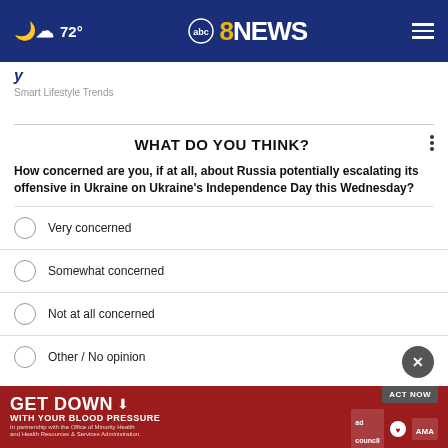72° abc8NEWS
Smart Lifestyle Trends
WHAT DO YOU THINK?
How concerned are you, if at all, about Russia potentially escalating its offensive in Ukraine on Ukraine's Independence Day this Wednesday?
Very concerned
Somewhat concerned
Not at all concerned
Other / No opinion
[Figure (infographic): Advertisement banner: GET DOWN WITH YOUR BLOOD PRESSURE. ACT NOW. Ad Council, American Heart Association, AMA logos.]